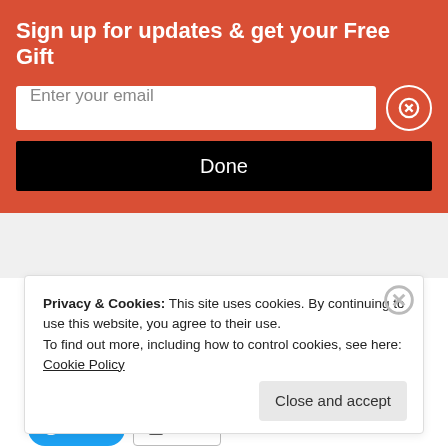Sign up for updates & get your Free Gift
Enter your email
Done
CONTINUE READING
Share this:
Share 0
Save
SHARE
Tweet
Email
Privacy & Cookies: This site uses cookies. By continuing to use this website, you agree to their use.
To find out more, including how to control cookies, see here: Cookie Policy
Close and accept